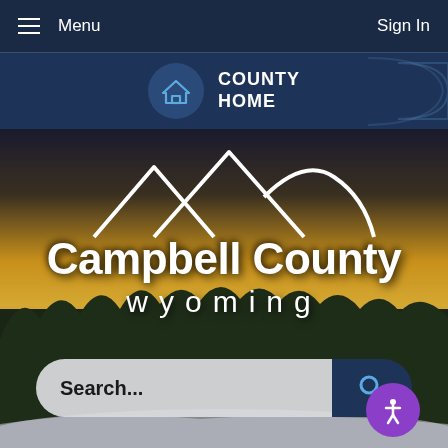Menu | Sign In
[Figure (screenshot): Navigation bar with COUNTY HOME icon and home symbol on dark navy background]
[Figure (photo): Campbell County Wyoming hero image with winter landscape, mountain logo outline, and Campbell County Wyoming text overlay. Search bar at bottom with search button and accessibility button.]